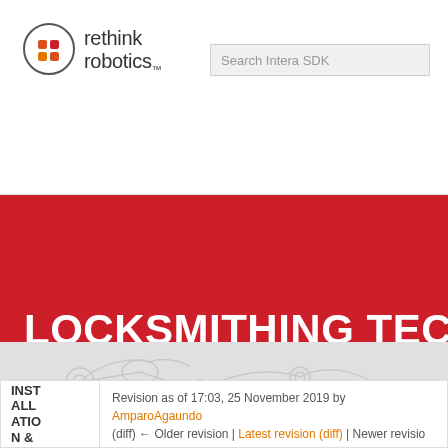[Figure (logo): Rethink Robotics logo with two orange/red square icons arranged in a circle]
Search Intera SDK
LOCKSMITHING TECHNIQUES
[Figure (illustration): Light gray robot arm/joint engineering diagram outline on gray background]
INSTALLATION &
Revision as of 17:03, 25 November 2019 by AmparoAgaundo (diff) ← Older revision | Latest revision (diff) | Newer revision